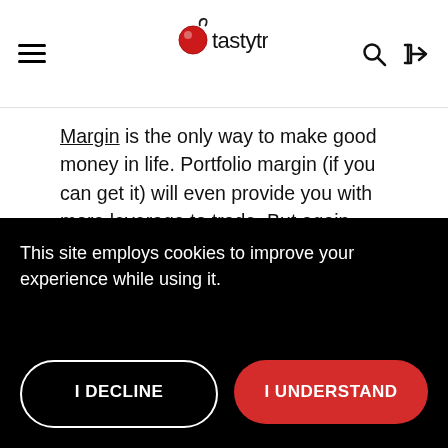tastytrade
Margin is the only way to make good money in life. Portfolio margin (if you can get it) will even provide you with more leverage to trade. But again remember: size kills, which is why we say generally to trade small and trade often.
[Figure (other): Grey placeholder image box]
This site employs cookies to improve your experience while using it.
I DECLINE | I UNDERSTAND